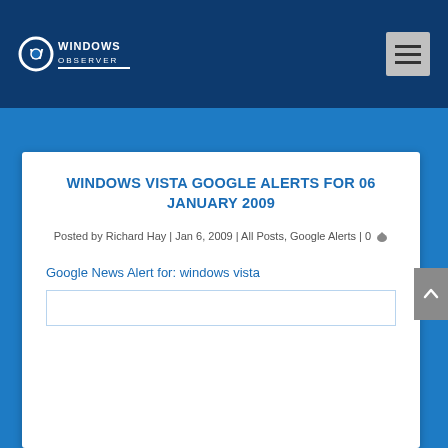Windows Observer
WINDOWS VISTA GOOGLE ALERTS FOR 06 JANUARY 2009
Posted by Richard Hay | Jan 6, 2009 | All Posts, Google Alerts | 0
Google News Alert for: windows vista